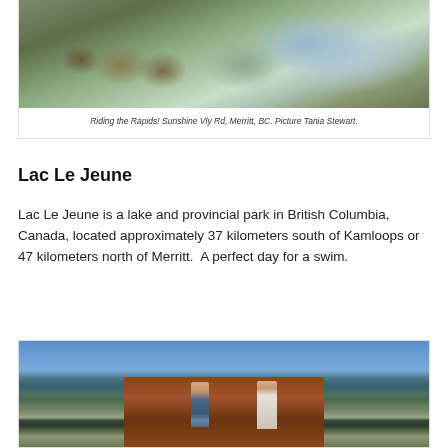[Figure (photo): Aerial view of people swimming in rapids or river water, with rocky shore visible on the left side. Water appears clear and turbulent.]
Riding the Rapids! Sunshine Vly Rd, Merritt, BC. Picture Tania Stewart.
Lac Le Jeune
Lac Le Jeune is a lake and provincial park in British Columbia, Canada, located approximately 37 kilometers south of Kamloops or 47 kilometers north of Merritt.  A perfect day for a swim.
[Figure (photo): Two people standing on a wooden dock/pier at Lac Le Jeune lake. Blue sky, forested hills in background, calm water with a few swimmers visible in distance.]